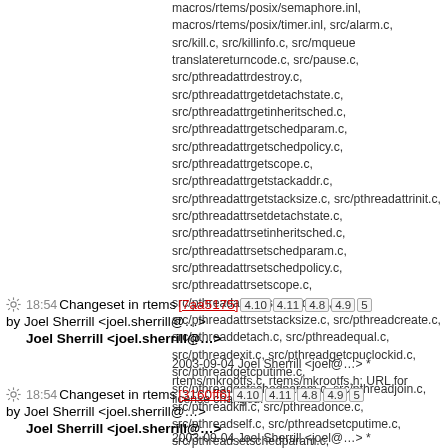macros/rtems/posix/semaphore.inl, macros/rtems/posix/timer.inl, src/alarm.c, src/kill.c, src/killinfo.c, src/mqueue translatereturncode.c, src/pause.c, src/pthreadattrdestroy.c, src/pthreadattrgetdetachstate.c, src/pthreadattrgetinheritsched.c, src/pthreadattrgetschedparam.c, src/pthreadattrgetschedpolicy.c, src/pthreadattrgetscope.c, src/pthreadattrgetstackaddr.c, src/pthreadattrgetstacksize.c, src/pthreadattrinit.c, src/pthreadattrsetdetachstate.c, src/pthreadattrsetinheritsched.c, src/pthreadattrsetschedparam.c, src/pthreadattrsetschedpolicy.c, src/pthreadattrsetscope.c, src/pthreadattrsetstackaddr.c, src/pthreadattrsetstacksize.c, src/pthreadcreate.c, src/pthreaddetach.c, src/pthreadequal.c, src/pthreadexit.c, src/pthreadgetcpuclockid.c, src/pthreadgetcputime.c, src/pthreadgetschedparam.c, src/pthreadjoin.c, src/pthreadkill.c, src/pthreadonce.c, src/pthreadself.c, src/pthreadsetcputime.c, src/pthreadsetschedparam.c, src/pthreadsigmask.c, src/sigaction.c, src/sigaddset.c, src/sigdelset.c, src/sigemptyset.c, src/sigfillset.c, src/sigismember.c, src/signal_2.c, src/sigpending.c, src/sigprocmask.c, src/sigqueue.c, src/sigsuspend.c, src/sigtimedwait.c, src/sigwait.c, src/sigwaitinfo.c, src/ualarm.c: URL for license changed.
18:54 Changeset in rtems [7aa5175] 4.10 4.11 4.8 4.9 5 by Joel Sherrill <joel.sherrill@…>
2003-09-04 Joel Sherrill <joel@…> * rtems/mkrootfs.c, rtems/mkrootfs.h: URL for license changed.
18:54 Changeset in rtems [3160ff6] 4.10 4.11 4.8 4.9 5 by Joel Sherrill <joel.sherrill@…>
2003-09-04 Joel Sherrill <joel@…> * cpuuse/cpuuse.c, cpuuse/cpuuse.h,